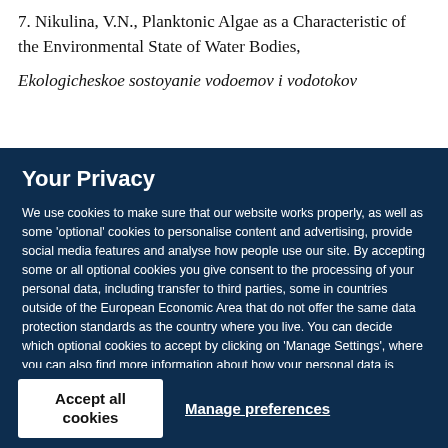7. Nikulina, V.N., Planktonic Algae as a Characteristic of the Environmental State of Water Bodies, Ekologicheskoe sostoyanie vodoemov i vodotokov
Your Privacy
We use cookies to make sure that our website works properly, as well as some 'optional' cookies to personalise content and advertising, provide social media features and analyse how people use our site. By accepting some or all optional cookies you give consent to the processing of your personal data, including transfer to third parties, some in countries outside of the European Economic Area that do not offer the same data protection standards as the country where you live. You can decide which optional cookies to accept by clicking on 'Manage Settings', where you can also find more information about how your personal data is processed. Further information can be found in our privacy policy.
Accept all cookies
Manage preferences